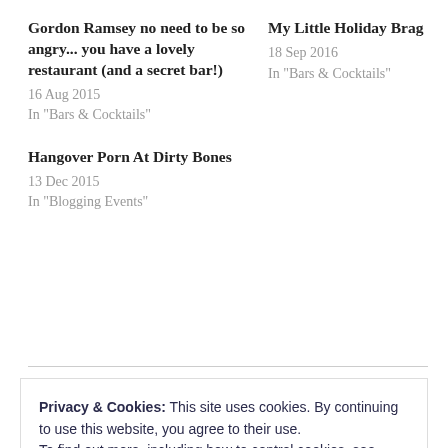Gordon Ramsey no need to be so angry... you have a lovely restaurant (and a secret bar!)
16 Aug 2015
In "Bars & Cocktails"
My Little Holiday Brag
18 Sep 2016
In "Bars & Cocktails"
Hangover Porn At Dirty Bones
13 Dec 2015
In "Blogging Events"
Privacy & Cookies: This site uses cookies. By continuing to use this website, you agree to their use.
To find out more, including how to control cookies, see here:
Cookie Policy
Close and accept